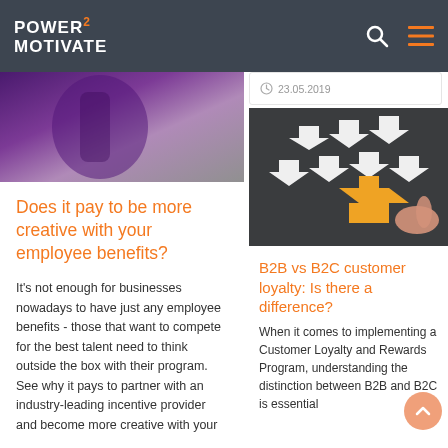Power2Motivate
23.05.2019
[Figure (photo): Person in galaxy/space outfit with purple and cosmic background]
Does it pay to be more creative with your employee benefits?
It's not enough for businesses nowadays to have just any employee benefits - those that want to compete for the best talent need to think outside the box with their program. See why it pays to partner with an industry-leading incentive provider and become more creative with your
[Figure (photo): White and yellow chalk arrows on dark background, one yellow arrow pointing right while white arrows point left]
B2B vs B2C customer loyalty: Is there a difference?
When it comes to implementing a Customer Loyalty and Rewards Program, understanding the distinction between B2B and B2C is essential